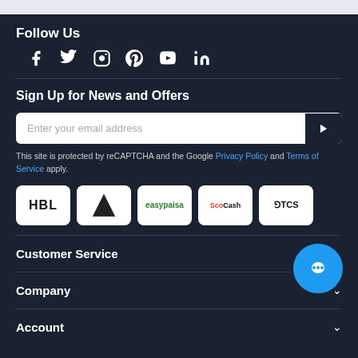Follow Us
[Figure (infographic): Social media icons: Facebook, Twitter, Instagram, Pinterest, YouTube, LinkedIn]
Sign Up for News and Offers
[Figure (other): Email subscription input box with submit arrow button]
This site is protected by reCAPTCHA and the Google Privacy Policy and Terms of Service apply.
[Figure (infographic): Payment method logos: HBL, Apex, easypaisa, SadaPay Cash, TCS]
Customer Service
Company
Account